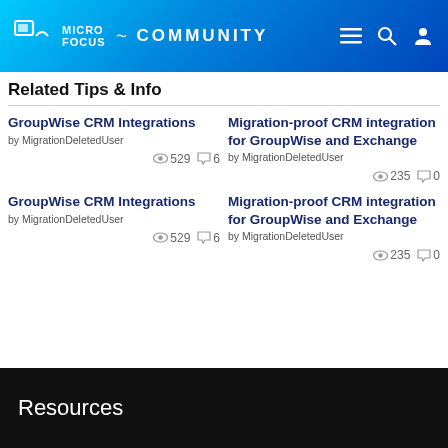Micro Focus Community
Related Tips & Info
GroupWise CRM Integrations by MigrationDeletedUser 529 views 6 comments
Migration-proof CRM integration for GroupWise and Exchange by MigrationDeletedUser 235 views 0 comments
GroupWise CRM Integrations by MigrationDeletedUser 529 views 6 comments
Migration-proof CRM integration for GroupWise and Exchange by MigrationDeletedUser 235 views 0 comments
Resources